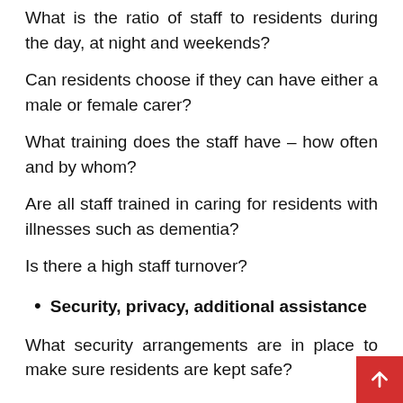What is the ratio of staff to residents during the day, at night and weekends?
Can residents choose if they can have either a male or female carer?
What training does the staff have – how often and by whom?
Are all staff trained in caring for residents with illnesses such as dementia?
Is there a high staff turnover?
Security, privacy, additional assistance
What security arrangements are in place to make sure residents are kept safe?